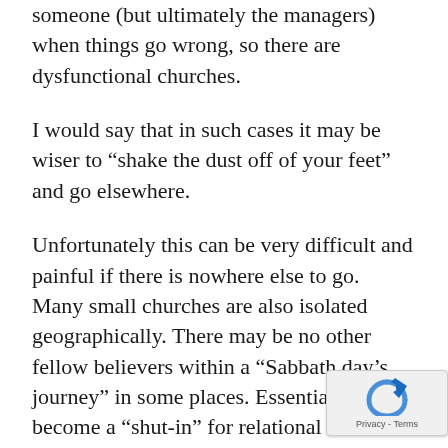someone (but ultimately the managers) when things go wrong, so there are dysfunctional churches.
I would say that in such cases it may be wiser to “shake the dust off of your feet” and go elsewhere.
Unfortunately this can be very difficult and painful if there is nowhere else to go. Many small churches are also isolated geographically. There may be no other fellow believers within a “Sabbath day’s journey” in some places. Essentially you become a “shut-in” for relational rather than physical reasons.
I know people in such circumstances who join the “church of the Internet.” On Sabbath morning they watch D Batchelor or Dwight Nelson or Ra Roberts or David Asscherick. Take y